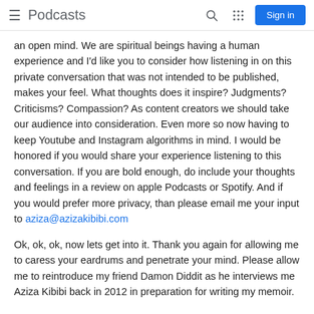Podcasts  Sign in
an open mind. We are spiritual beings having a human experience and I'd like you to consider how listening in on this private conversation that was not intended to be published, makes your feel. What thoughts does it inspire? Judgments? Criticisms? Compassion? As content creators we should take our audience into consideration. Even more so now having to keep Youtube and Instagram algorithms in mind. I would be honored if you would share your experience listening to this conversation. If you are bold enough, do include your thoughts and feelings in a review on apple Podcasts or Spotify. And if you would prefer more privacy, than please email me your input to aziza@azizakibibi.com
Ok, ok, ok, now lets get into it. Thank you again for allowing me to caress your eardrums and penetrate your mind. Please allow me to reintroduce my friend Damon Diddit as he interviews me Aziza Kibibi back in 2012 in preparation for writing my memoir.
Ask/Invite/Announcements